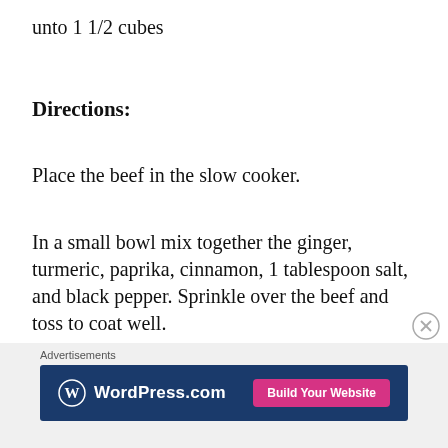unto 1 1/2 cubes
Directions:
Place the beef in the slow cooker.
In a small bowl mix together the ginger, turmeric, paprika, cinnamon, 1 tablespoon salt, and black pepper. Sprinkle over the beef and toss to coat well.
Advertisements
[Figure (other): WordPress.com advertisement banner with logo and 'Build Your Website' button]